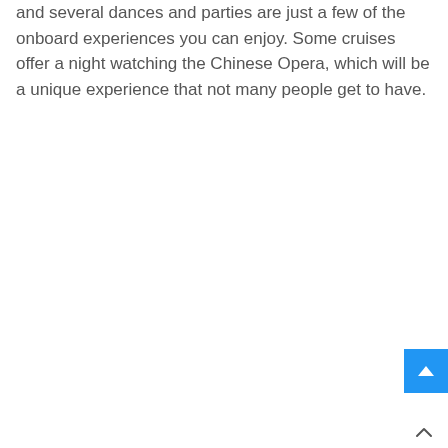and several dances and parties are just a few of the onboard experiences you can enjoy. Some cruises offer a night watching the Chinese Opera, which will be a unique experience that not many people get to have.